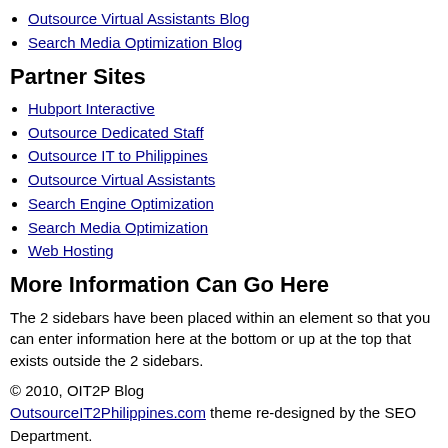Outsource Virtual Assistants Blog
Search Media Optimization Blog
Partner Sites
Hubport Interactive
Outsource Dedicated Staff
Outsource IT to Philippines
Outsource Virtual Assistants
Search Engine Optimization
Search Media Optimization
Web Hosting
More Information Can Go Here
The 2 sidebars have been placed within an element so that you can enter information here at the bottom or up at the top that exists outside the 2 sidebars.
© 2010, OIT2P Blog
OutsourceIT2Philippines.com theme re-designed by the SEO Department.